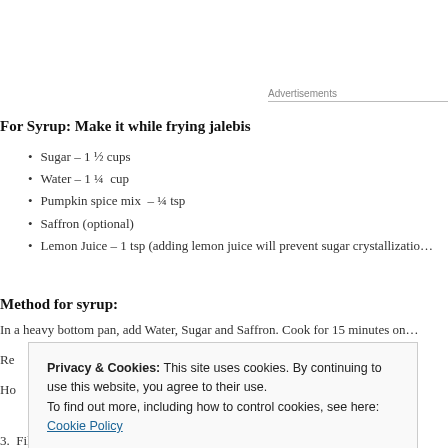Advertisements
For Syrup: Make it while frying jalebis
Sugar – 1 ½ cups
Water – 1 ¼  cup
Pumpkin spice mix  – ¼ tsp
Saffron (optional)
Lemon Juice – 1 tsp (adding lemon juice will prevent sugar crystallizatio…
Method for syrup:
In a heavy bottom pan, add Water, Sugar and Saffron. Cook for 15 minutes on…
Re…mm…
Ho…
Privacy & Cookies: This site uses cookies. By continuing to use this website, you agree to their use. To find out more, including how to control cookies, see here: Cookie Policy
Close and accept
3.  Fill ketchup or mustard bottle with the batter (You can even use ziplock…